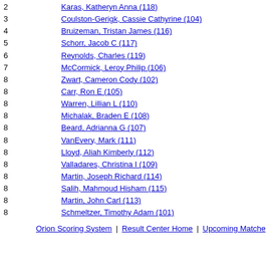2  Karas, Katheryn Anna (118)
3  Coulston-Gerigk, Cassie Cathyrine (104)
4  Bruizeman, Tristan James (116)
5  Schorr, Jacob C (117)
6  Reynolds, Charles (119)
7  McCormick, Leroy Philip (106)
8  Zwart, Cameron Cody (102)
8  Carr, Ron E (105)
8  Warren, Lillian L (110)
8  Michalak, Braden E (108)
8  Beard, Adrianna G (107)
8  VanEvery, Mark (111)
8  Lloyd, Aliah Kimberly (112)
8  Valladares, Christina I (109)
8  Martin, Joseph Richard (114)
8  Salih, Mahmoud Hisham (115)
8  Martin, John Carl (113)
8  Schmeltzer, Timothy Adam (101)
Orion Scoring System | Result Center Home | Upcoming Matches